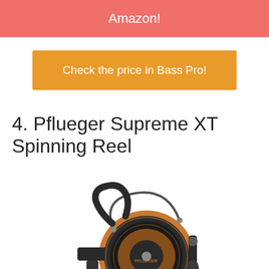Amazon!
Check the price in Bass Pro!
4. Pflueger Supreme XT Spinning Reel
[Figure (photo): Pflueger Supreme XT Spinning Reel — black and copper/orange colored fishing spinning reel viewed from the side, showing the handle, spool, and bail wire.]